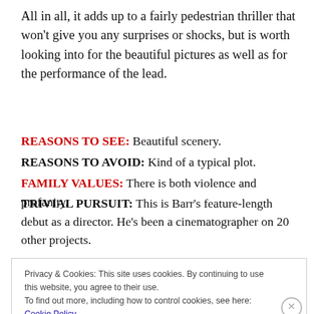All in all, it adds up to a fairly pedestrian thriller that won't give you any surprises or shocks, but is worth looking into for the beautiful pictures as well as for the performance of the lead.
REASONS TO SEE: Beautiful scenery.
REASONS TO AVOID: Kind of a typical plot.
FAMILY VALUES: There is both violence and profanity.
TRIVIAL PURSUIT: This is Barr's feature-length debut as a director. He's been a cinematographer on 20 other projects.
Privacy & Cookies: This site uses cookies. By continuing to use this website, you agree to their use. To find out more, including how to control cookies, see here: Cookie Policy
Close and accept